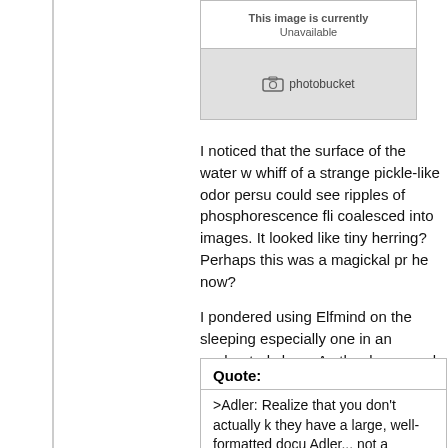[Figure (other): Photobucket image unavailable placeholder box with gray bottom bar and photobucket logo/text]
I noticed that the surface of the water w... whiff of a strange pickle-like odor persu... could see ripples of phosphorescence fli... coalesced into images. It looked like tiny... herring? Perhaps this was a magickal pr... he now?
I pondered using Elfmind on the sleeping... especially one in an enchanted sleep. Ac... the dream and falling asleep along with... methods for making people forget inform...
It certainly would have been handy to ha...
Quote:
>Adler: Realize that you don't actually k... they have a large, well-formatted docu... Adler... not a kingdom to...